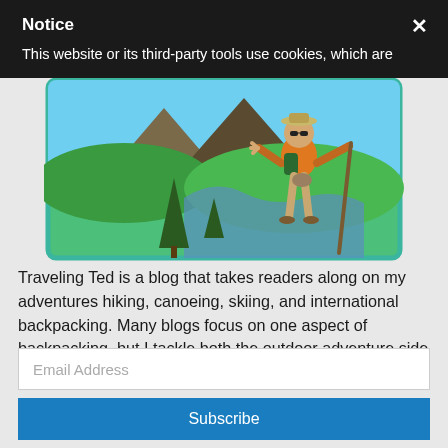Notice
This website or its third-party tools use cookies, which are
[Figure (illustration): Illustrated logo of a hiker (Traveling Ted) with a walking stick and orange jacket, set against a green landscape with mountains and a river, in a cartoon/vector style with a teal border.]
Traveling Ted is a blog that takes readers along on my adventures hiking, canoeing, skiing, and international backpacking. Many blogs focus on one aspect of backpacking, but I tackle both the outdoor adventure side and international exploration as well.
Email Address
Subscribe